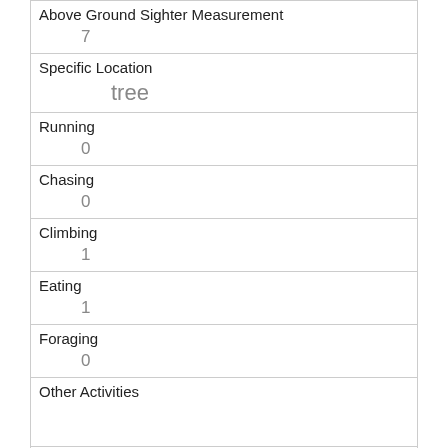| Above Ground Sighter Measurement | 7 |
| Specific Location | tree |
| Running | 0 |
| Chasing | 0 |
| Climbing | 1 |
| Eating | 1 |
| Foraging | 0 |
| Other Activities |  |
| Kuks | 0 |
| Quaas | 0 |